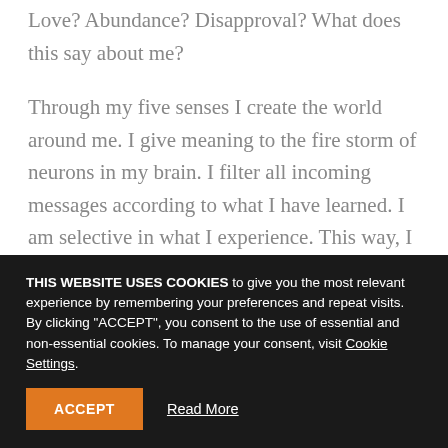Love? Abundance? Disapproval? What does this say about me?
Through my five senses I create the world around me. I give meaning to the fire storm of neurons in my brain. I filter all incoming messages according to what I have learned. I am selective in what I experience. This way, I create the world around me. Life is a mirror reflecting back at me how I see
THIS WEBSITE USES COOKIES to give you the most relevant experience by remembering your preferences and repeat visits. By clicking "ACCEPT", you consent to the use of essential and non-essential cookies. To manage your consent, visit Cookie Settings.
ACCEPT   Read More